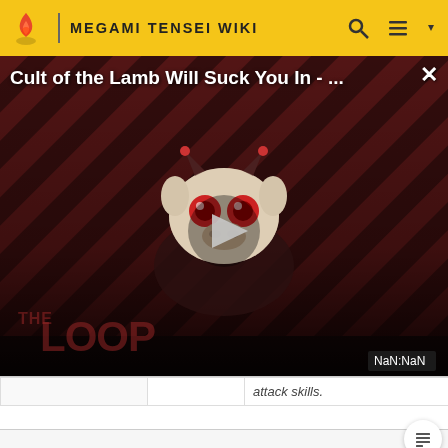MEGAMI TENSEI WIKI
[Figure (screenshot): Video player overlay showing 'Cult of the Lamb Will Suck You In - ...' with THE LOOP branding, a cartoon character mascot, play button, and NaN:NaN timestamp on a dark red striped background.]
|  |  | attack skills. |  |
Persona 5 / Royal